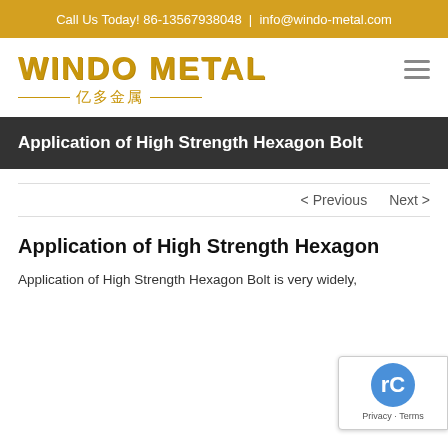Call Us Today! 86-13567938048 | info@windo-metal.com
[Figure (logo): Windo Metal logo with Chinese characters 亿多金属]
Application of High Strength Hexagon Bolt
< Previous   Next >
Application of High Strength Hexagon
Application of High Strength Hexagon Bolt is very widely,